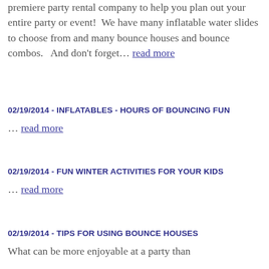premiere party rental company to help you plan out your entire party or event!  We have many inflatable water slides to choose from and many bounce houses and bounce combos.  And don't forget… read more
02/19/2014 - INFLATABLES - HOURS OF BOUNCING FUN
… read more
02/19/2014 - FUN WINTER ACTIVITIES FOR YOUR KIDS
… read more
02/19/2014 - TIPS FOR USING BOUNCE HOUSES
What can be more enjoyable at a party than